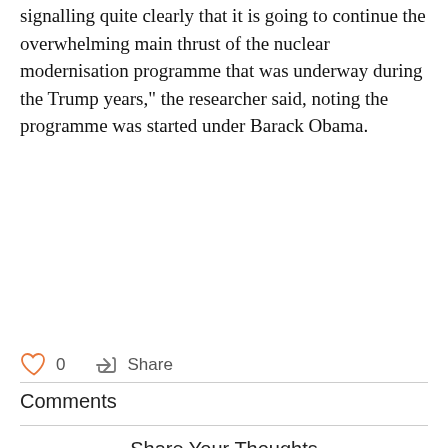signalling quite clearly that it is going to continue the overwhelming main thrust of the nuclear modernisation programme that was underway during the Trump years," the researcher said, noting the programme was started under Barack Obama.
♡ 0   ↗ Share
Comments
Share Your Thoughts
Sign up to leave a comment.
Log In
Sign Up